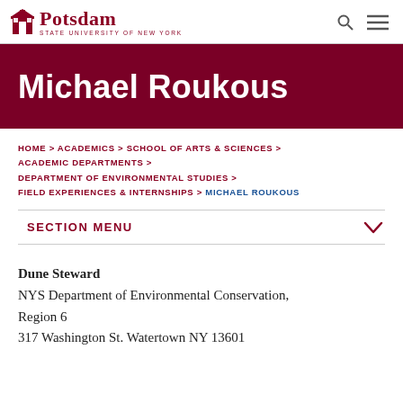Potsdam STATE UNIVERSITY OF NEW YORK
Michael Roukous
HOME > ACADEMICS > SCHOOL OF ARTS & SCIENCES > ACADEMIC DEPARTMENTS > DEPARTMENT OF ENVIRONMENTAL STUDIES > FIELD EXPERIENCES & INTERNSHIPS > MICHAEL ROUKOUS
SECTION MENU
Dune Steward
NYS Department of Environmental Conservation, Region 6
317 Washington St. Watertown NY 13601